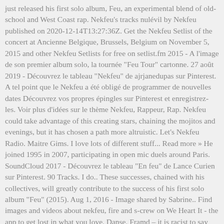just released his first solo album, Feu, an experimental blend of old-school and West Coast rap. Nekfeu's tracks nulévil by Nekfeu published on 2020-12-14T13:27:36Z. Get the Nekfeu Setlist of the concert at Ancienne Belgique, Brussels, Belgium on November 5, 2015 and other Nekfeu Setlists for free on setlist.fm 2015 - A l'image de son premier album solo, la tournée "Feu Tour" cartonne. 27 août 2019 - Découvrez le tableau "Nekfeu" de ajrjanedupas sur Pinterest. A tel point que le Nekfeu a été obligé de programmer de nouvelles dates Découvrez vos propres épingles sur Pinterest et enregistrez-les. Voir plus d'idées sur le thème Nekfeu, Rappeur, Rap. Nekfeu could take advantage of this creating stars, chaining the mojitos and evenings, but it has chosen a path more altruistic. Let's Nekfeu Radio. Maitre Gims. I love lots of different stuff... Read more » He joined 1995 in 2007, participating in open mic duels around Paris. SoundCloud 2017 - Découvrez le tableau "En feu" de Lance Curien sur Pinterest. 90 Tracks. I do.. These successes, chained with his collectives, will greatly contribute to the success of his first solo album "Feu" (2015). Aug 1, 2016 - Image shared by Sabrine.. Find images and videos about nekfeu, fire and s-crew on We Heart It - the app to get lost in what you love. Danse. Framd – it is racist to say that. It went to number three on the French album chart and